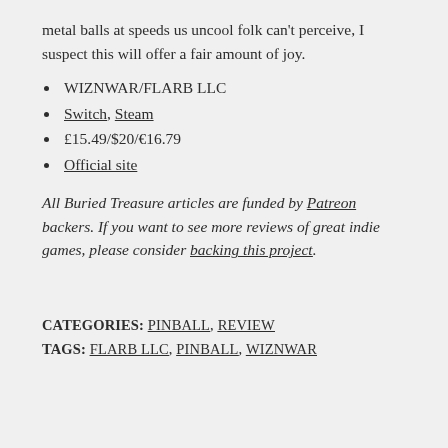metal balls at speeds us uncool folk can't perceive, I suspect this will offer a fair amount of joy.
WIZNWAR/FLARB LLC
Switch, Steam
£15.49/$20/€16.79
Official site
All Buried Treasure articles are funded by Patreon backers. If you want to see more reviews of great indie games, please consider backing this project.
CATEGORIES: PINBALL, REVIEW
TAGS: FLARB LLC, PINBALL, WIZNWAR